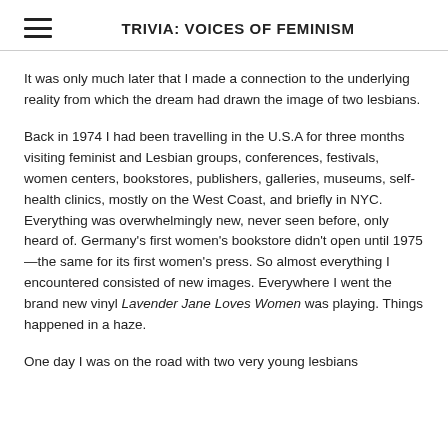TRIVIA: VOICES OF FEMINISM
It was only much later that I made a connection to the underlying reality from which the dream had drawn the image of two lesbians.
Back in 1974 I had been travelling in the U.S.A for three months visiting feminist and Lesbian groups, conferences, festivals, women centers, bookstores, publishers, galleries, museums, self- health clinics, mostly on the West Coast, and briefly in NYC. Everything was overwhelmingly new, never seen before, only heard of. Germany's first women's bookstore didn't open until 1975—the same for its first women's press. So almost everything I encountered consisted of new images. Everywhere I went the brand new vinyl Lavender Jane Loves Women was playing. Things happened in a haze.
One day I was on the road with two very young lesbians